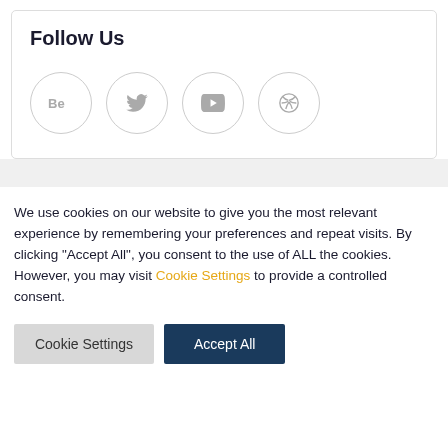Follow Us
[Figure (infographic): Four social media icon buttons in circles: Behance, Twitter, YouTube, Dribbble]
We use cookies on our website to give you the most relevant experience by remembering your preferences and repeat visits. By clicking "Accept All", you consent to the use of ALL the cookies. However, you may visit Cookie Settings to provide a controlled consent.
Cookie Settings | Accept All